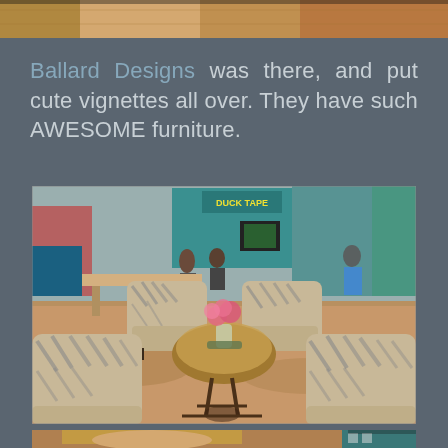[Figure (photo): Top cropped photo showing furniture/event items, partially visible at top of page]
Ballard Designs was there, and put cute vignettes all over. They have such AWESOME furniture.
[Figure (photo): Interior photo of an event/expo hall showing zebra print upholstered chairs arranged around a round table with pink flowers, with vendor booths visible in background including a Duck Tape booth]
[Figure (photo): Bottom cropped photo showing a person's head and partial view of another element, cut off at page bottom]